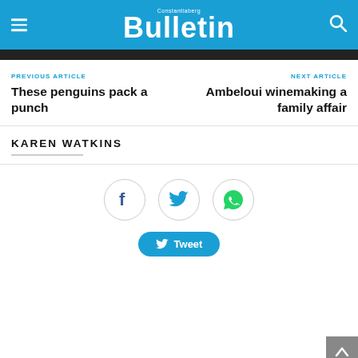Constantiaberg Bulletin
PREVIOUS ARTICLE
These penguins pack a punch
NEXT ARTICLE
Ambeloui winemaking a family affair
KAREN WATKINS
[Figure (other): Social share buttons: Facebook (f), Twitter (bird icon), WhatsApp (phone icon), and a Tweet button]